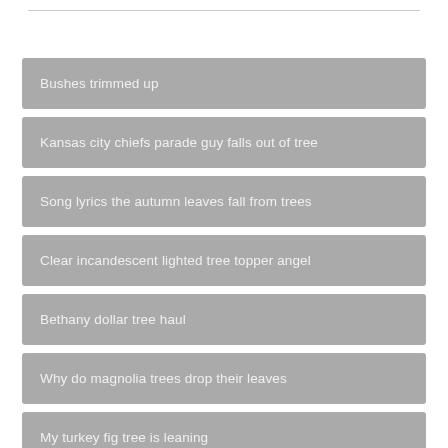Bushes trimmed up
Kansas city chiefs parade guy falls out of tree
Song lyrics the autumn leaves fall from trees
Clear incandescent lighted tree topper angel
Bethany dollar tree haul
Why do magnolia trees drop their leaves
My turkey fig tree is leaning